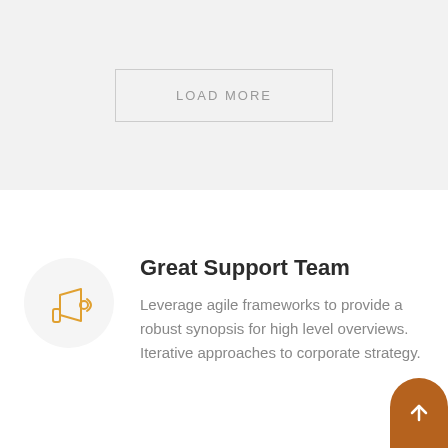LOAD MORE
[Figure (illustration): Megaphone/announcement icon in orange/yellow color inside a light gray circle]
Great Support Team
Leverage agile frameworks to provide a robust synopsis for high level overviews. Iterative approaches to corporate strategy.